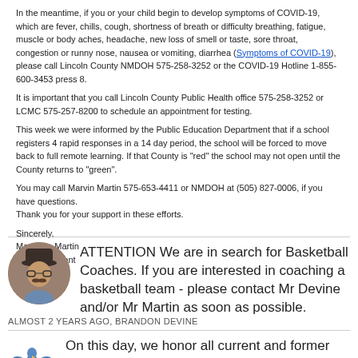In the meantime, if you or your child begin to develop symptoms of COVID-19, which are fever, chills, cough, shortness of breath or difficulty breathing, fatigue, muscle or body aches, headache, new loss of smell or taste, sore throat, congestion or runny nose, nausea or vomiting, diarrhea (Symptoms of COVID-19), please call Lincoln County NMDOH 575-258-3252 or the COVID-19 Hotline 1-855-600-3453 press 8.
It is important that you call Lincoln County Public Health office 575-258-3252 or LCMC 575-257-8200 to schedule an appointment for testing.
This week we were informed by the Public Education Department that if a school registers 4 rapid responses in a 14 day period, the school will be forced to move back to full remote learning. If that County is "red" the school may not open until the County returns to "green".
You may call Marvin Martin 575-653-4411 or NMDOH at (505) 827-0006, if you have questions. Thank you for your support in these efforts.
Sincerely,
Marvin L. Martin
Superintendent
[Figure (photo): Circular avatar photo of a man wearing a hat and glasses]
ATTENTION We are in search for Basketball Coaches. If you are interested in coaching a basketball team - please contact Mr Devine and/or Mr Martin as soon as possible.
ALMOST 2 YEARS AGO, BRANDON DEVINE
[Figure (logo): Blue eagle/bird logo illustration]
On this day, we honor all current and former members of the Armed Services. Our country's